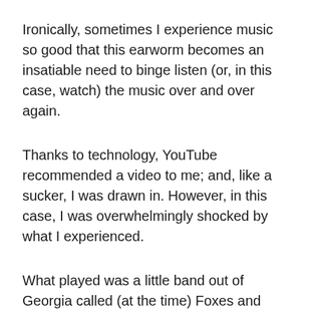Ironically, sometimes I experience music so good that this earworm becomes an insatiable need to binge listen (or, in this case, watch) the music over and over again.
Thanks to technology, YouTube recommended a video to me; and, like a sucker, I was drawn in. However, in this case, I was overwhelmingly shocked by what I experienced.
What played was a little band out of Georgia called (at the time) Foxes and Fossils. It’s a father and daughter and the band they formed. I was shocked. I watched it and have been repeatedly drawn back to listen to their unbelievable vocal harmonies as they perform great